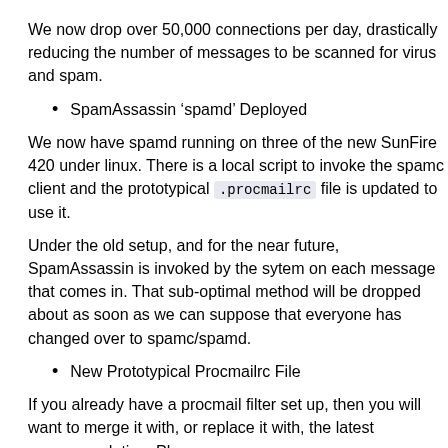We now drop over 50,000 connections per day, drastically reducing the number of messages to be scanned for virus and spam.
SpamAssassin ‘spamd’ Deployed
We now have spamd running on three of the new SunFire 420 under linux. There is a local script to invoke the spamc client and the prototypical .procmailrc file is updated to use it.
Under the old setup, and for the near future, SpamAssassin is invoked by the sytem on each message that comes in. That sub-optimal method will be dropped about as soon as we can suppose that everyone has changed over to spamc/spamd.
New Prototypical Procmailrc File
If you already have a procmail filter set up, then you will want to merge it with, or replace it with, the latest recommendation. Please see /usr/local/umb_proto_dot/.procmailrc .